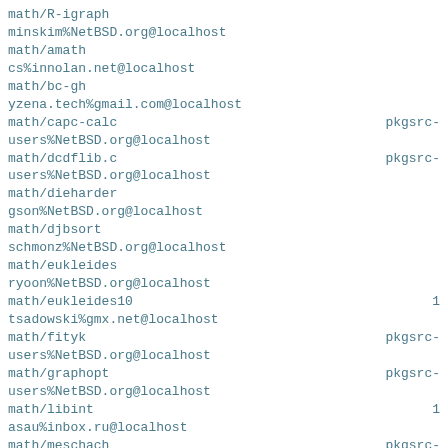math/R-igraph
minskim%NetBSD.org@localhost
math/amath
cs%innolan.net@localhost
math/bc-gh
yzena.tech%gmail.com@localhost
math/capc-calc                                     pkgsrc-
users%NetBSD.org@localhost
math/dcdflib.c                                     pkgsrc-
users%NetBSD.org@localhost
math/dieharder
gson%NetBSD.org@localhost
math/djbsort
schmonz%NetBSD.org@localhost
math/eukleides
ryoon%NetBSD.org@localhost
math/eukleides10                          1
tsadowski%gmx.net@localhost
math/fityk                                         pkgsrc-
users%NetBSD.org@localhost
math/graphopt                                      pkgsrc-
users%NetBSD.org@localhost
math/libint                               1
asau%inbox.ru@localhost
math/meschach                                      pkgsrc-
users%NetBSD.org@localhost
math/ntl                                  1 pkgsrc-
users%NetBSD.org@localhost
math/openfst
pallegra%gmail.com@localhost